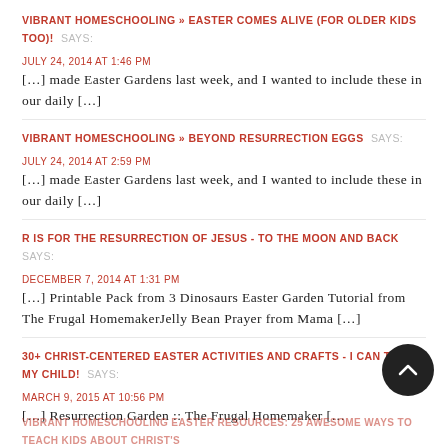VIBRANT HOMESCHOOLING » EASTER COMES ALIVE (FOR OLDER KIDS TOO)! SAYS:
JULY 24, 2014 AT 1:46 PM
[…] made Easter Gardens last week, and I wanted to include these in our daily […]
VIBRANT HOMESCHOOLING » BEYOND RESURRECTION EGGS SAYS:
JULY 24, 2014 AT 2:59 PM
[…] made Easter Gardens last week, and I wanted to include these in our daily […]
R IS FOR THE RESURRECTION OF JESUS - TO THE MOON AND BACK SAYS:
DECEMBER 7, 2014 AT 1:31 PM
[…] Printable Pack from 3 Dinosaurs Easter Garden Tutorial from The Frugal HomemakerJelly Bean Prayer from Mama […]
30+ CHRIST-CENTERED EASTER ACTIVITIES AND CRAFTS - I CAN TEACH MY CHILD! SAYS:
MARCH 9, 2015 AT 10:56 PM
[…] Resurrection Garden :: The Frugal Homemaker […
VIBRANT HOMESCHOOLING EASTER RESOURCES: 25 AWESOME WAYS TO TEACH KIDS ABOUT CHRIST'S